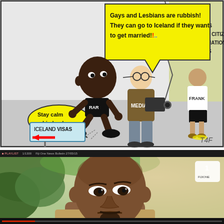[Figure (illustration): Political cartoon showing a man in athletic wear crouching with speech bubble 'Gays and Lesbians are rubbish! They can go to Iceland if they want to get married!..', a media camera person, and a figure labeled FRANK facing a wall with text 'A NEW FIJI WE ALL FIJIANS WE ALL EQUAL CITIZENS NON DISCRIMINATION HUMAN RIGHTS'. A small figure says 'Stay calm big boy!' and there is an 'ICELAND VISAS' sign with a red arrow. Signed T4F.]
[Figure (screenshot): Screenshot of a video player (Fiji One News) showing a close-up of a bald man with a goatee being interviewed outdoors with green foliage in background. The channel logo appears top right.]